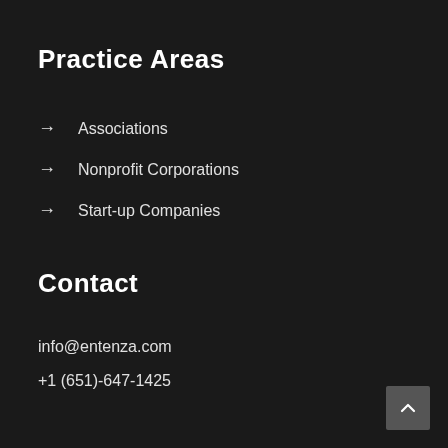Practice Areas
Associations
Nonprofit Corporations
Start-up Companies
Contact
info@entenza.com
+1 (651)-647-1425